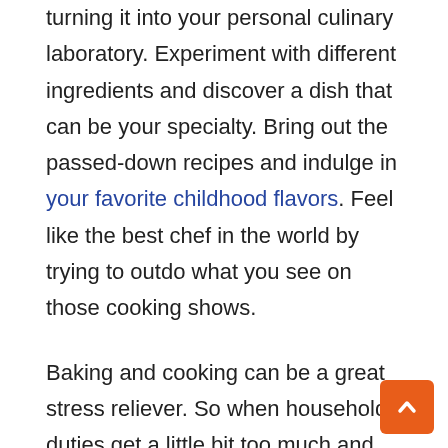turning it into your personal culinary laboratory. Experiment with different ingredients and discover a dish that can be your specialty. Bring out the passed-down recipes and indulge in your favorite childhood flavors. Feel like the best chef in the world by trying to outdo what you see on those cooking shows.
Baking and cooking can be a great stress reliever. So when household duties get a little bit too much and you feel like you're losing your cool, why not try making that recipe you've been craving for?
The Best Way to Stay Cool Is to Be You...